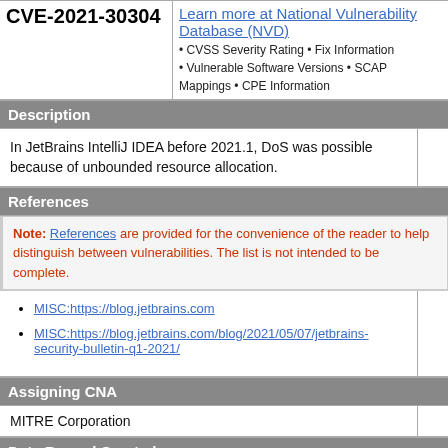CVE-2021-30304 — Learn more at National Vulnerability Database (NVD) • CVSS Severity Rating • Fix Information • Vulnerable Software Versions • SCAP Mappings • CPE Information
Description
In JetBrains IntelliJ IDEA before 2021.1, DoS was possible because of unbounded resource allocation.
References
Note: References are provided for the convenience of the reader to help distinguish between vulnerabilities. The list is not intended to be complete.
MISC:https://blog.jetbrains.com
MISC:https://blog.jetbrains.com/blog/2021/05/07/jetbrains-security-bulletin-q1-2021/
Assigning CNA
MITRE Corporation
Date Record Created
20210413 — Disclaimer: The record creation date may reflect when the CVE ID was allocated or reserved, and does not